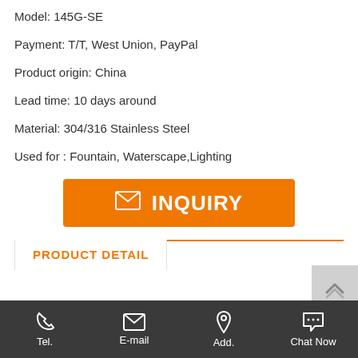Model: 145G-SE
Payment: T/T, West Union, PayPal
Product origin: China
Lead time: 10 days around
Material: 304/316 Stainless Steel
Used for : Fountain, Waterscape,Lighting
[Figure (other): Orange INQUIRY button with envelope icon]
PRODUCT DETAIL
Tel. | E-mail | Add. | Chat Now